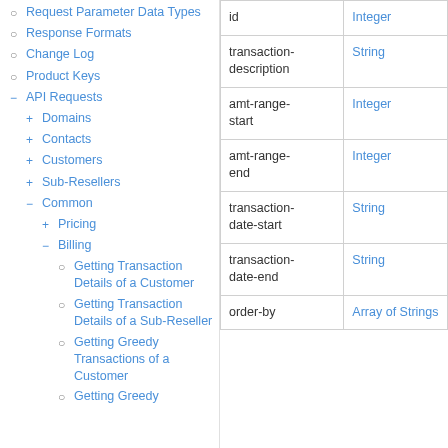Request Parameter Data Types
Response Formats
Change Log
Product Keys
API Requests
Domains
Contacts
Customers
Sub-Resellers
Common
Pricing
Billing
Getting Transaction Details of a Customer
Getting Transaction Details of a Sub-Reseller
Getting Greedy Transactions of a Customer
Getting Greedy
|  |  |
| --- | --- |
| id | Integer |
| transaction-description | String |
| amt-range-start | Integer |
| amt-range-end | Integer |
| transaction-date-start | String |
| transaction-date-end | String |
| order-by | Array of Strings |